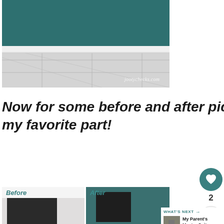[Figure (photo): Close-up photo of a room corner showing a teal/dark cyan painted wall with white baseboard trim and light grey tiled floor. Watermark reads 'jootychecks.com' in bottom right.]
Now for some before and after pictures – this is always my favorite part!
[Figure (photo): Before and after side-by-side comparison photos of a bedroom/living room. Left half labeled 'Before' shows a dark headboard against a white wall. Right half labeled 'After' shows the same room with teal painted walls.]